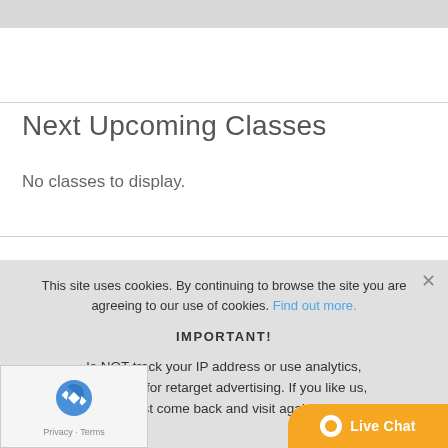[Figure (screenshot): Top gray banner bar of a website]
Next Upcoming Classes
No classes to display.
This site uses cookies. By continuing to browse the site you are agreeing to our use of cookies. Find out more.
IMPORTANT!
do NOT track your IP address or use analytics, or cookies for retarget advertising. If you like us, just come back and visit again!
[Figure (logo): reCAPTCHA logo with Privacy - Terms label]
Live Chat